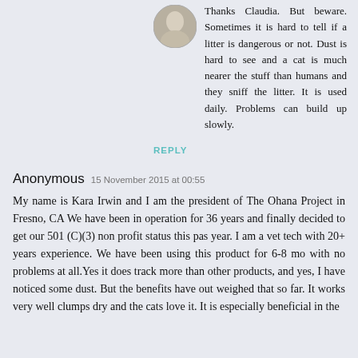[Figure (photo): Small circular avatar photo of a person, grayscale/monochrome style]
Thanks Claudia. But beware. Sometimes it is hard to tell if a litter is dangerous or not. Dust is hard to see and a cat is much nearer the stuff than humans and they sniff the litter. It is used daily. Problems can build up slowly.
REPLY
Anonymous  15 November 2015 at 00:55
My name is Kara Irwin and I am the president of The Ohana Project in Fresno, CA We have been in operation for 36 years and finally decided to get our 501 (C)(3) non profit status this pas year. I am a vet tech with 20+ years experience. We have been using this product for 6-8 mo with no problems at all.Yes it does track more than other products, and yes, I have noticed some dust. But the benefits have out weighed that so far. It works very well clumps dry and the cats love it. It is especially beneficial in the